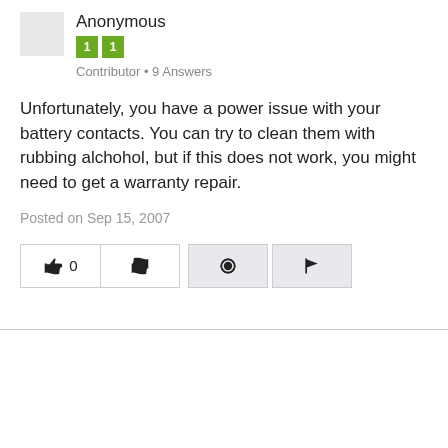Anonymous
1 1
Contributor • 9 Answers
Unfortunately, you have a power issue with your battery contacts. You can try to clean them with rubbing alchohol, but if this does not work, you might need to get a warranty repair.
Posted on Sep 15, 2007
[Figure (other): Action buttons row: thumbs up with count 0, thumbs down, comment bubble, flag icon]